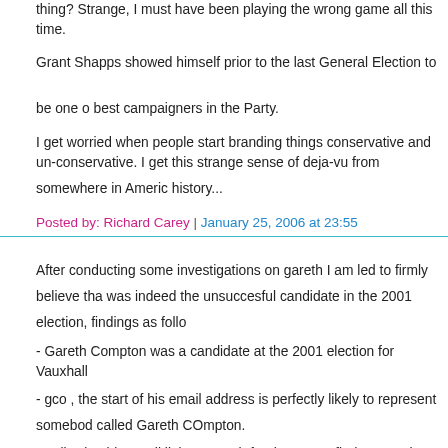thing? Strange, I must have been playing the wrong game all this time.
Grant Shapps showed himself prior to the last General Election to be one of the best campaigners in the Party.
I get worried when people start branding things conservative and un-conservative. I get this strange sense of deja-vu from somewhere in America history...
Posted by: Richard Carey | January 25, 2006 at 23:55
After conducting some investigations on gareth I am led to firmly believe that he was indeed the unsuccesful candidate in the 2001 election, findings as follows:
- Gareth Compton was a candidate at the 2001 election for Vauxhall
- gco , the start of his email address is perfectly likely to represent somebody called Gareth COmpton.
- Following his email link, a search for that name finds a match at 'no5.com'
- Cllr Gareth Compton has multiple profiles when googled, and looks quite like a barrister
- He is also mentioned on Cllr Lindley's weblog, who is another person who expresses considerable dislike towards regular conservative members